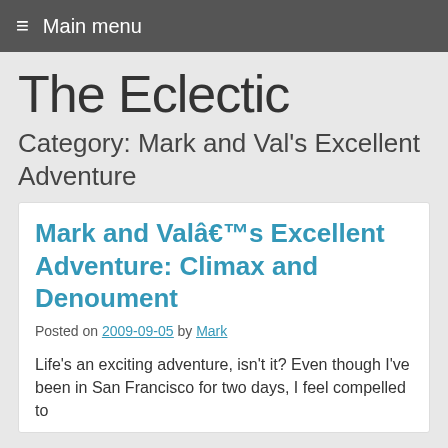≡ Main menu
The Eclectic
Category: Mark and Val's Excellent Adventure
Mark and Valâ€™s Excellent Adventure: Climax and Denoument
Posted on 2009-09-05 by Mark
Life's an exciting adventure, isn't it? Even though I've been in San Francisco for two days, I feel compelled to